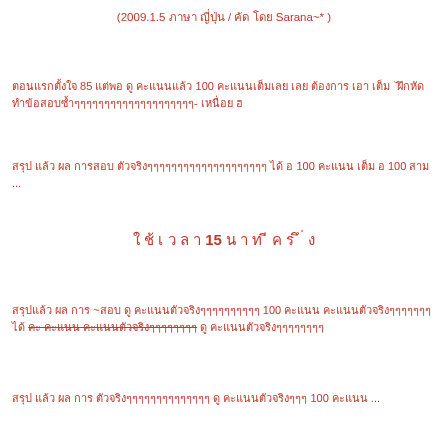(2009.1.5 ภาษา ญี่ปุ่น / คัด โดย Sarana~* )
ตอนแรกตั้งใจ 85 แต่พอ ดู คะแนนแล้ว 100 คะแนนเต็มเลย เลย ต้องการ เอา เต็ม `ฝึกหัดทำข้อสอบซ้ำๆๆๆๆๆๆๆๆๆๆๆๆๆๆๆๆๆๆๆๆ- เหนื่อย ฮ
สรุป แล้ว ผล การสอบ ตัวจริงๆๆๆๆๆๆๆๆๆๆๆๆๆๆๆๆๆๆๆๆ ได้ อ 100 คะแนน เต็ม อ 100 สาม ...
ใ ช้ เ ว ล า 15 น า ท ี ค ร ึ ่ ง
สรุปแล้ว ผล การ ~สอบ ดู คะแนนตัวจริงๆๆๆๆๆๆๆๆๆๆ 100 คะแนน คะแนนตัวจริงๆๆๆๆๆๆๆ ได้ คะ คะแนน คะแนนตัวจริงๆๆๆๆๆๆๆๆ ดู คะแนนตัวจริงๆๆๆๆๆๆๆๆ
สรุป แล้ว ผล การ ตัวจริงๆๆๆๆๆๆๆๆๆๆๆๆๆๆ ดู คะแนนตัวจริงๆๆๆ 100 คะแนน ...